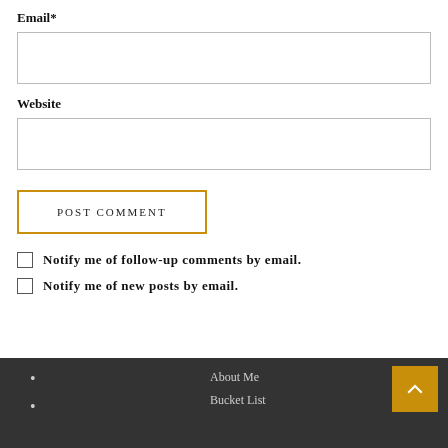Email*
(email input field)
Website
(website input field)
POST COMMENT
Notify me of follow-up comments by email.
Notify me of new posts by email.
About Me
Bucket List